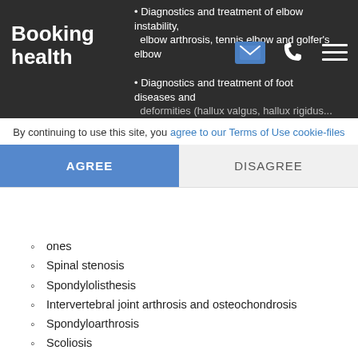Booking health
Diagnostics and treatment of elbow instability, elbow arthrosis, tennis elbow and golfer's elbow
Diagnostics and treatment of foot diseases and deformities (hallux valgus, hallux rigidus...
By continuing to use this site, you agree to our Terms of Use cookie-files
AGREE
DISAGREE
ones
Spinal stenosis
Spondylolisthesis
Intervertebral joint arthrosis and osteochondrosis
Spondyloarthrosis
Scoliosis
Diagnostics and treatment of orthopedic diseases in children (focus on the treatment of hip dysplasia and clubfoot)
Diagnostics and treatment of other musculoskeletal injuries and diseases
Treatment request
Curriculum vitae of Dr. med